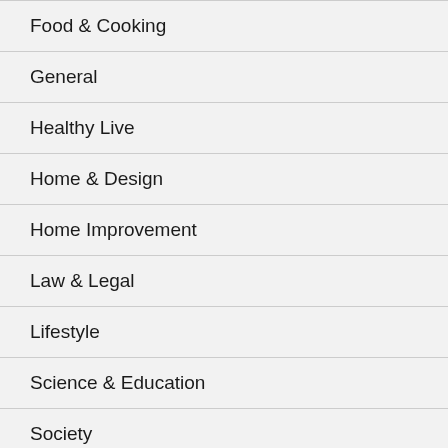Food & Cooking
General
Healthy Live
Home & Design
Home Improvement
Law & Legal
Lifestyle
Science & Education
Society